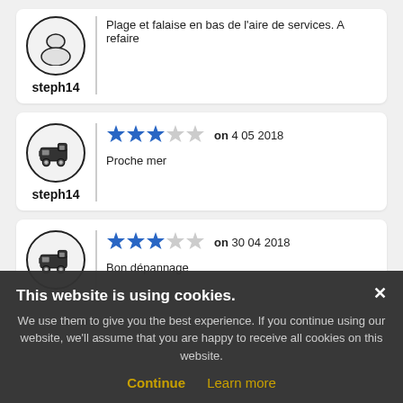Plage et falaise en bas de l'aire de services. A refaire
steph14
[Figure (other): Motorhome icon in circle, 3 out of 5 blue stars, date 4 05 2018, review text: Proche mer, username: steph14]
[Figure (other): Motorhome icon in circle, 3 out of 5 blue stars, date 30 04 2018, review text: Bon dépannage, username: Commodore]
This website is using cookies. We use them to give you the best experience. If you continue using our website, we'll assume that you are happy to receive all cookies on this website.
Continue   Learn more